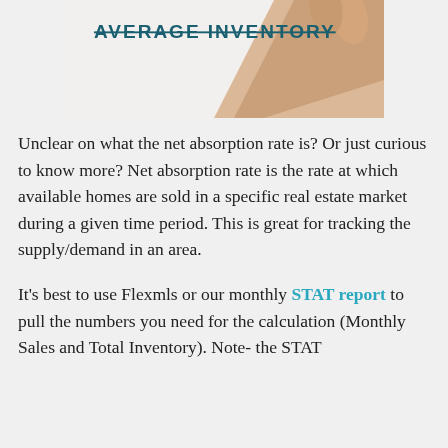[Figure (photo): Partial image showing 'AVERAGE INVENTORY' text handwritten/printed with a hand visible at the top of the page]
Unclear on what the net absorption rate is? Or just curious to know more? Net absorption rate is the rate at which available homes are sold in a specific real estate market during a given time period. This is great for tracking the supply/demand in an area.
It's best to use Flexmls or our monthly STAT report to pull the numbers you need for the calculation (Monthly Sales and Total Inventory). Note- the STAT